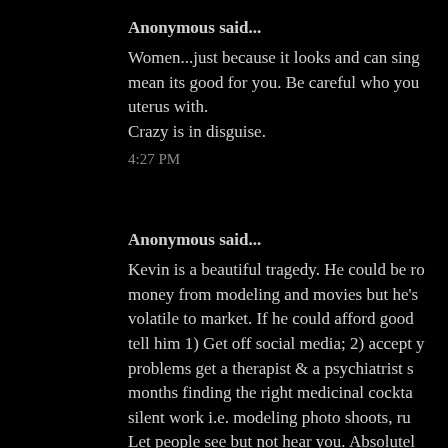Anonymous said...
Women...just because it looks and can sing doesn't mean its good for you. Be careful who you share your uterus with.
Crazy is in disguise.
4:27 PM
Anonymous said...
Kevin is a beautiful tragedy. He could be rolling in money from modeling and movies but he's too volatile to market. If he could afford good PR I'd tell him 1) Get off social media; 2) accept your problems get a therapist & a psychiatrist spend months finding the right medicinal cocktail 3) silent work i.e. modeling photo shoots, runway. Let people see but not hear you. Absolutely NO SOCIAL MEDIA POSTING 4) Slip into movie